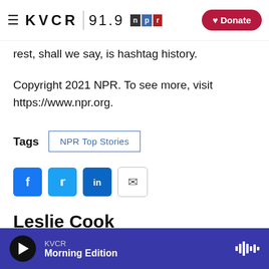KVCR 91.9 NPR | Donate
rest, shall we say, is hashtag history.
Copyright 2021 NPR. To see more, visit https://www.npr.org.
Tags  NPR Top Stories
[Figure (infographic): Social share buttons: Facebook, Twitter, LinkedIn, Email]
Leslie Cook
Leslie Cook...
KVCR Morning Edition (player bar)